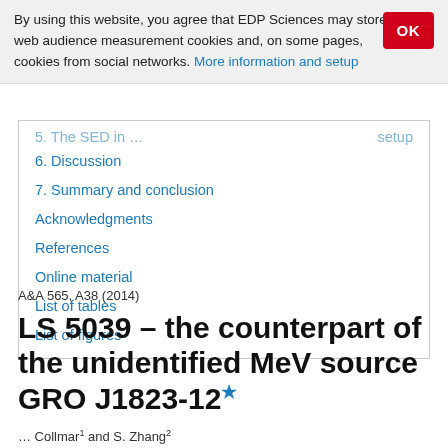By using this website, you agree that EDP Sciences may store web audience measurement cookies and, on some pages, cookies from social networks. More information and setup
5. The SED in ... setup
6. Discussion
7. Summary and conclusion
Acknowledgments
References
Online material
List of tables
List of figures
A&A 565, A38 (2014)
LS 5039 – the counterpart of the unidentified MeV source GRO J1823-12*